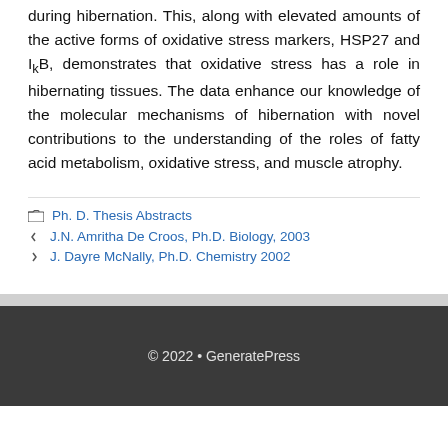during hibernation. This, along with elevated amounts of the active forms of oxidative stress markers, HSP27 and IkB, demonstrates that oxidative stress has a role in hibernating tissues. The data enhance our knowledge of the molecular mechanisms of hibernation with novel contributions to the understanding of the roles of fatty acid metabolism, oxidative stress, and muscle atrophy.
Ph. D. Thesis Abstracts
J.N. Amritha De Croos, Ph.D. Biology, 2003
J. Dayre McNally, Ph.D. Chemistry 2002
© 2022 • GeneratePress